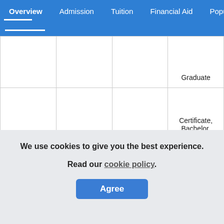Overview | Admission | Tuition | Financial Aid | Population
|  |  |  |  |
| --- | --- | --- | --- |
|  |  |  | Graduate |
| Albuquerque, NM | Public, four-years | Doctor's Degree | Certificate, Bachelor, Master, Doctorate, Post-Graduate |
|  | Private (not-for-profit) | Doctor's | Bachelor, Master, ... |
We use cookies to give you the best experience.
Read our cookie policy.
Agree